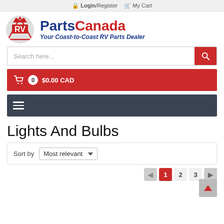Login/Register   My Cart
[Figure (logo): RV Parts Canada logo — circular emblem with RV text, beside 'Parts' in blue and 'Canada' in red bold text, tagline 'Your Coast-to-Coast RV Parts Dealer' in italic blue]
Search here...
0   $0.00 CAD
[Figure (other): Hamburger menu icon (three horizontal lines) on dark gray navigation bar]
Lights And Bulbs
Sort by   Most relevant
1  2  3